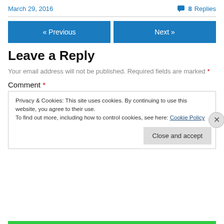March 29, 2016    💬 8 Replies
« Previous    Next »
Leave a Reply
Your email address will not be published. Required fields are marked *
Comment *
Privacy & Cookies: This site uses cookies. By continuing to use this website, you agree to their use.
To find out more, including how to control cookies, see here: Cookie Policy
Close and accept